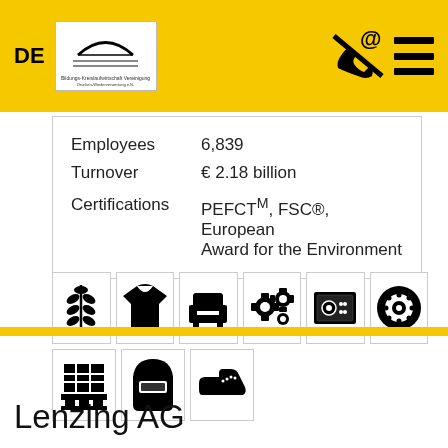DE
| Label | Value |
| --- | --- |
| Employees | 6,839 |
| Turnover | € 2.18 billion |
| Certifications | PEFCTM, FSC®, European Award for the Environment |
[Figure (infographic): 9 industry sector icons: wheat/grain, t-shirt/clothing, armchair/furniture, gears/machinery, safe/security, tire/automotive, pallet/logistics, welding mask/metalwork, shoe/footwear]
Lenzing AG